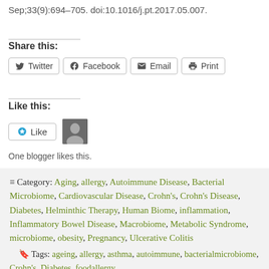Sep;33(9):694–705. doi:10.1016/j.pt.2017.05.007.
Share this:
Twitter  Facebook  Email  Print
Like this:
Like  [avatar]
One blogger likes this.
≡ Category: Aging, allergy, Autoimmune Disease, Bacterial Microbiome, Cardiovascular Disease, Crohn's, Crohn's Disease, Diabetes, Helminthic Therapy, Human Biome, inflammation, Inflammatory Bowel Disease, Macrobiome, Metabolic Syndrome, microbiome, obesity, Pregnancy, Ulcerative Colitis
Tags: ageing, allergy, asthma, autoimmune, bacterialmicrobiome, Crohn's, Diabetes, foodallergy,